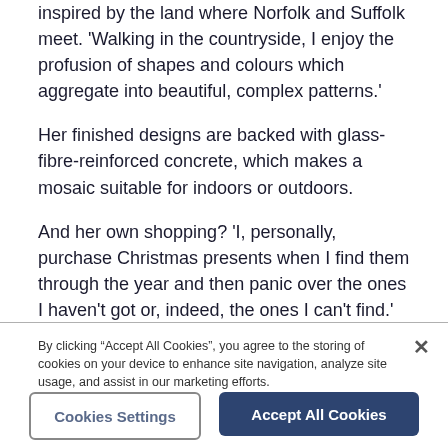inspired by the land where Norfolk and Suffolk meet. 'Walking in the countryside, I enjoy the profusion of shapes and colours which aggregate into beautiful, complex patterns.'
Her finished designs are backed with glass-fibre-reinforced concrete, which makes a mosaic suitable for indoors or outdoors.
And her own shopping? 'I, personally, purchase Christmas presents when I find them through the year and then panic over the ones I haven't got or, indeed, the ones I can't find.'
By clicking “Accept All Cookies”, you agree to the storing of cookies on your device to enhance site navigation, analyze site usage, and assist in our marketing efforts.